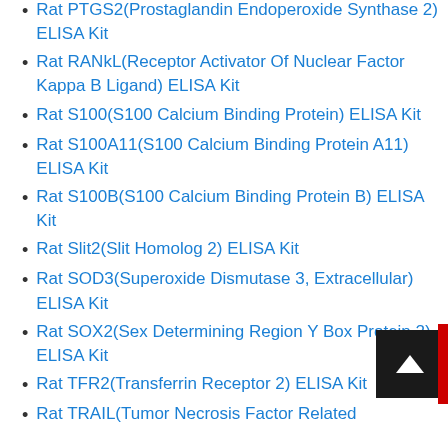Rat PTGS2(Prostaglandin Endoperoxide Synthase 2) ELISA Kit
Rat RANkL(Receptor Activator Of Nuclear Factor Kappa B Ligand) ELISA Kit
Rat S100(S100 Calcium Binding Protein) ELISA Kit
Rat S100A11(S100 Calcium Binding Protein A11) ELISA Kit
Rat S100B(S100 Calcium Binding Protein B) ELISA Kit
Rat Slit2(Slit Homolog 2) ELISA Kit
Rat SOD3(Superoxide Dismutase 3, Extracellular) ELISA Kit
Rat SOX2(Sex Determining Region Y Box Protein 2) ELISA Kit
Rat TFR2(Transferrin Receptor 2) ELISA Kit
Rat TRAIL(Tumor Necrosis Factor Related